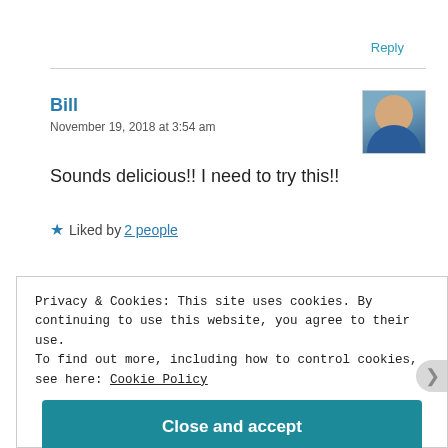Reply
Bill
November 19, 2018 at 3:54 am
[Figure (photo): User avatar photo of Bill, showing a man in a blue shirt]
Sounds delicious!! I need to try this!!
★ Liked by 2 people
Privacy & Cookies: This site uses cookies. By continuing to use this website, you agree to their use.
To find out more, including how to control cookies, see here: Cookie Policy
Close and accept